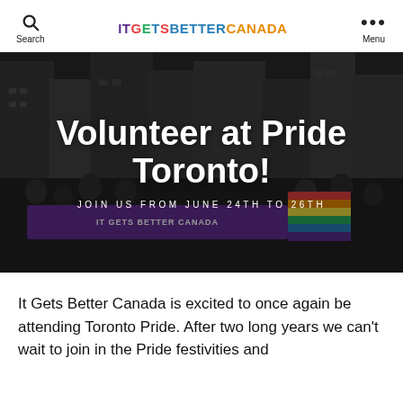IT GETS BETTER CANADA
[Figure (photo): A crowd of people marching in a Pride parade on a city street, holding a purple banner that reads 'IT GETS BETTER CANADA' and a rainbow flag. City buildings are visible in the background. The image has a dark overlay with large white text 'Volunteer at Pride Toronto!' and subtext 'JOIN US FROM JUNE 24TH TO 26TH'.]
It Gets Better Canada is excited to once again be attending Toronto Pride. After two long years we can't wait to join in the Pride festivities and